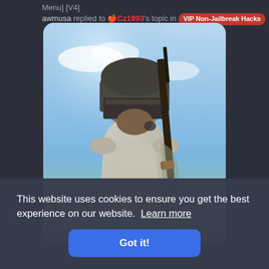Menu] [V4]
awmusa replied to 🍎Cz1993's topic in VIP Non-Jailbreak Hacks
[Figure (photo): PUBG-style game character wearing military helmet with face shield, carrying a rifle, blue sky background with clouds and dry grass]
This website uses cookies to ensure you get the best experience on our website. Learn more
Got it!